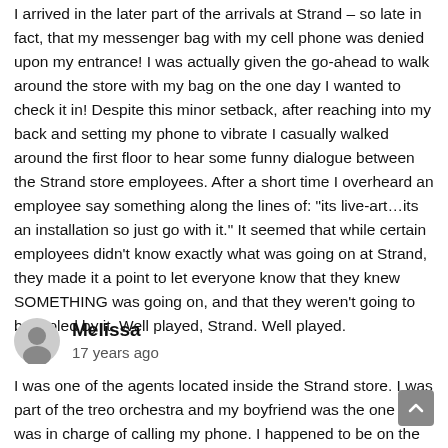I arrived in the later part of the arrivals at Strand – so late in fact, that my messenger bag with my cell phone was denied upon my entrance! I was actually given the go-ahead to walk around the store with my bag on the one day I wanted to check it in! Despite this minor setback, after reaching into my back and setting my phone to vibrate I casually walked around the first floor to hear some funny dialogue between the Strand store employees. After a short time I overheard an employee say something along the lines of: "its live-art…its an installation so just go with it." It seemed that while certain employees didn't know exactly what was going on at Strand, they made it a point to let everyone know that they knew SOMETHING was going on, and that they weren't going to be fooled by it. Well played, Strand. Well played.
Melissa
17 years ago
I was one of the agents located inside the Strand store. I was part of the treo orchestra and my boyfriend was the one who was in charge of calling my phone. I happened to be on the ground level of the store